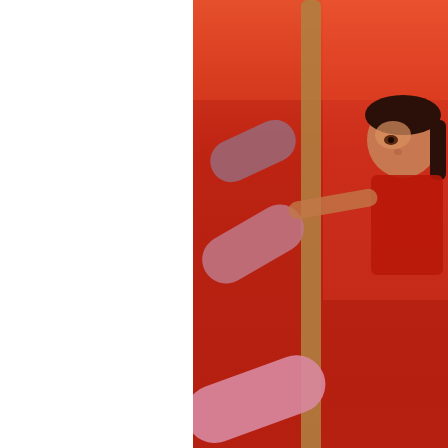[Figure (photo): Child near colorful foam or plastic play structures, warm red-orange tones, child in red outfit looking upward]
(Oh and Rose actually let me put her hair up in a ponytail today. How cute is
Posted in Lulu, outings, photos, Rose, Salem | No Co
I think she has a drinking problem.
February 8th, 2012
I set a small goal recently to get the girls to drink less juice (1/2 juice, 1/2 w... of those little 8 oz bottles of water, thinking that they would love the novelty... would be small enough for them to hold easily.